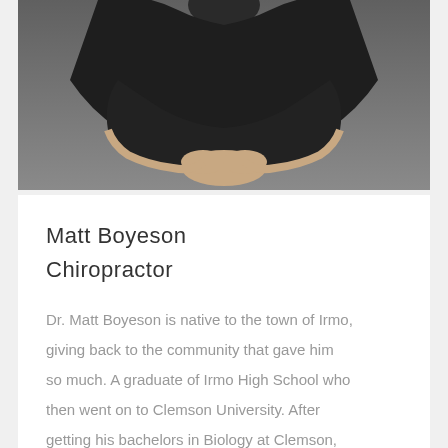[Figure (photo): Portrait photo of a person in a black t-shirt, photographed from roughly waist up, against a gray background. Only the lower torso and arms are visible as the top is cropped.]
Matt Boyeson
Chiropractor
Dr. Matt Boyeson is native to the town of Irmo, giving back to the community that gave him so much. A graduate of Irmo High School who then went on to Clemson University. After getting his bachelors in Biology at Clemson, Dr. Matt attended Sherman College of